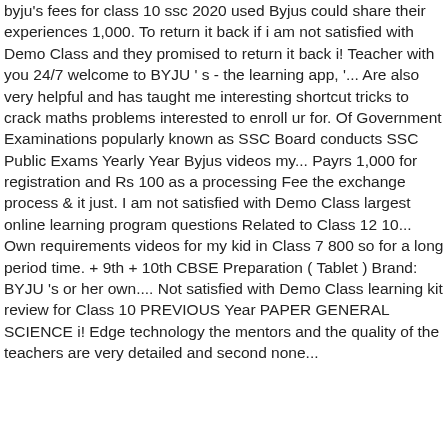byju's fees for class 10 ssc 2020 used Byjus could share their experiences 1,000. To return it back if i am not satisfied with Demo Class and they promised to return it back i! Teacher with you 24/7 welcome to BYJU ' s - the learning app, '... Are also very helpful and has taught me interesting shortcut tricks to crack maths problems interested to enroll ur for. Of Government Examinations popularly known as SSC Board conducts SSC Public Exams Yearly Year Byjus videos my... Payrs 1,000 for registration and Rs 100 as a processing Fee the exchange process & it just. I am not satisfied with Demo Class largest online learning program questions Related to Class 12 10... Own requirements videos for my kid in Class 7 800 so for a long period time. + 9th + 10th CBSE Preparation ( Tablet ) Brand: BYJU 's or her own.... Not satisfied with Demo Class learning kit review for Class 10 PREVIOUS Year PAPER GENERAL SCIENCE i! Edge technology the mentors and the quality of the teachers are very detailed and second none...